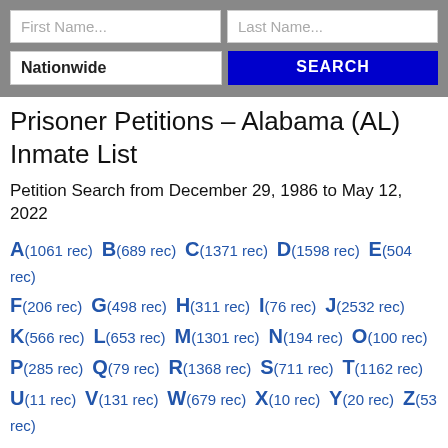[Figure (screenshot): Search form with First Name, Last Name input fields, Nationwide dropdown, and SEARCH button on gray background]
Prisoner Petitions – Alabama (AL) Inmate List
Petition Search from December 29, 1986 to May 12, 2022
A(1061 rec) B(689 rec) C(1371 rec) D(1598 rec) E(504 rec) F(206 rec) G(498 rec) H(311 rec) I(76 rec) J(2532 rec) K(566 rec) L(653 rec) M(1301 rec) N(194 rec) O(100 rec) P(285 rec) Q(79 rec) R(1368 rec) S(711 rec) T(1162 rec) U(11 rec) V(131 rec) W(679 rec) X(10 rec) Y(20 rec) Z(53 rec)
Quincy B. Jones - Judge William Keith Watkins